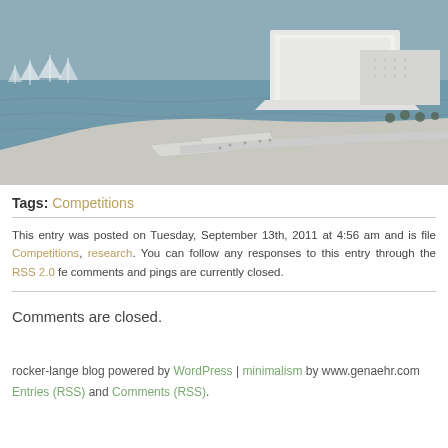[Figure (photo): Aerial rendering of a modern waterfront architectural complex with white angular buildings on a peninsula, surrounded by water with sailboats visible in the background.]
Tags: Competitions
This entry was posted on Tuesday, September 13th, 2011 at 4:56 am and is filed under Competitions, research. You can follow any responses to this entry through the RSS 2.0 feed. Both comments and pings are currently closed.
Comments are closed.
rocker-lange blog powered by WordPress | minimalism by www.genaehr.com Entries (RSS) and Comments (RSS).